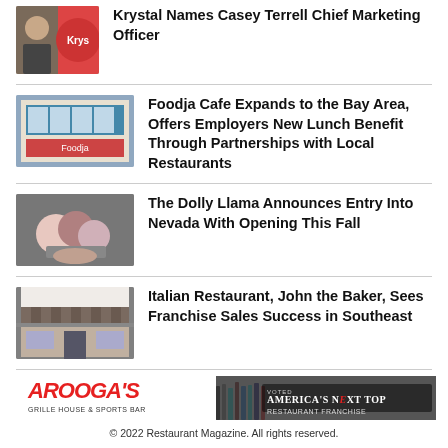Krystal Names Casey Terrell Chief Marketing Officer
Foodja Cafe Expands to the Bay Area, Offers Employers New Lunch Benefit Through Partnerships with Local Restaurants
The Dolly Llama Announces Entry Into Nevada With Opening This Fall
Italian Restaurant, John the Baker, Sees Franchise Sales Success in Southeast
[Figure (logo): Arooga's Grille House & Sports Bar logo and America's Next Top Restaurant Franchise banner advertisement]
© 2022 Restaurant Magazine. All rights reserved.